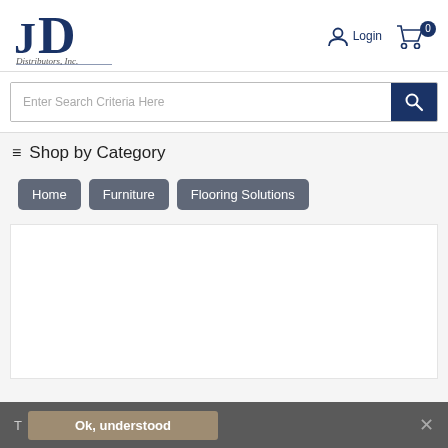[Figure (logo): JD Distributors, Inc. logo with bold serif letters JD and italic subtitle]
Login
0
Enter Search Criteria Here
≡ Shop by Category
Home
Furniture
Flooring Solutions
T  Ok, understood  ✕